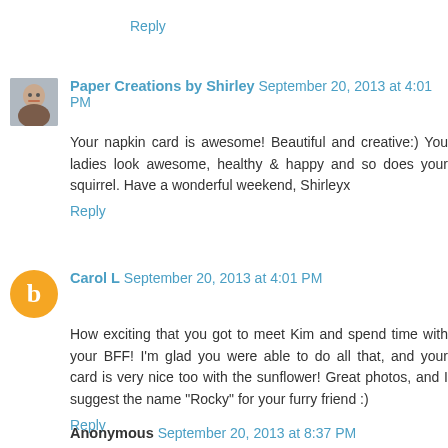Reply
Paper Creations by Shirley September 20, 2013 at 4:01 PM
Your napkin card is awesome! Beautiful and creative:) You ladies look awesome, healthy & happy and so does your squirrel. Have a wonderful weekend, Shirleyx
Reply
Carol L September 20, 2013 at 4:01 PM
How exciting that you got to meet Kim and spend time with your BFF! I'm glad you were able to do all that, and your card is very nice too with the sunflower! Great photos, and I suggest the name "Rocky" for your furry friend :)
Reply
Anonymous September 20, 2013 at 8:37 PM